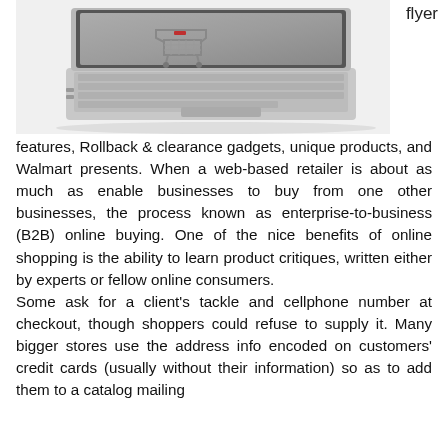[Figure (photo): Photo of a laptop computer with a miniature shopping cart placed on the keyboard, on a white background. To the right of the photo is the word 'flyer'.]
features, Rollback & clearance gadgets, unique products, and Walmart presents. When a web-based retailer is about as much as enable businesses to buy from one other businesses, the process known as enterprise-to-business (B2B) online buying. One of the nice benefits of online shopping is the ability to learn product critiques, written either by experts or fellow online consumers.
Some ask for a client's tackle and cellphone number at checkout, though shoppers could refuse to supply it. Many bigger stores use the address info encoded on customers' credit cards (usually without their information) so as to add them to a catalog mailing